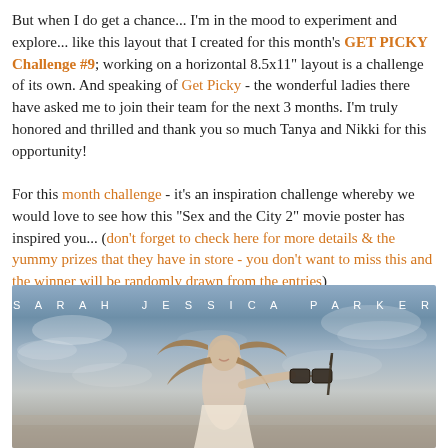But when I do get a chance... I'm in the mood to experiment and explore... like this layout that I created for this month's GET PICKY Challenge #9; working on a horizontal 8.5x11" layout is a challenge of its own. And speaking of Get Picky - the wonderful ladies there have asked me to join their team for the next 3 months. I'm truly honored and thrilled and thank you so much Tanya and Nikki for this opportunity!

For this month challenge - it's an inspiration challenge whereby we would love to see how this "Sex and the City 2" movie poster has inspired you... (don't forget to check here for more details & the yummy prizes that they have in store - you don't want to miss this and the winner will be randomly drawn from the entries)
[Figure (photo): Sex and the City 2 movie poster featuring Sarah Jessica Parker in a glamorous pose holding oversized glasses, with windswept hair, against a cloudy sky background. Text at top reads 'SARAH JESSICA PARKER' in spaced letters.]